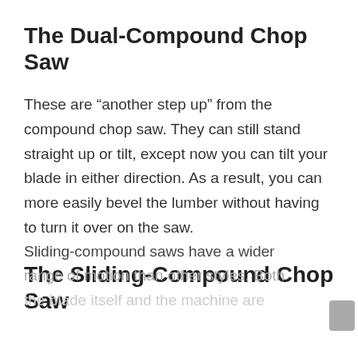The Dual-Compound Chop Saw
These are “another step up” from the compound chop saw. They can still stand straight up or tilt, except now you can tilt your blade in either direction. As a result, you can more easily bevel the lumber without having to turn it over on the saw.
The Sliding-Compound Chop Saw
Sliding-compound saws have a wider range of motion than other styles. Both the blade itself and the machine are...